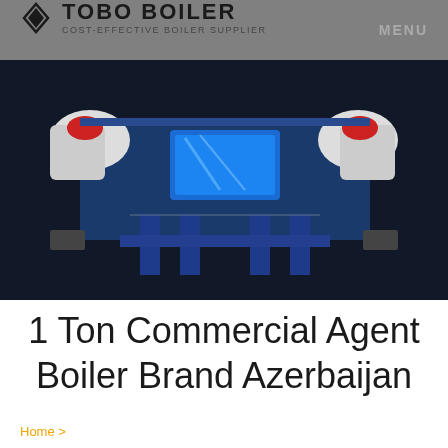TOBO BOILER — COST-EFFECTIVE BOILER SUPPLIER
[Figure (photo): Industrial boiler machinery photographed from below/side angle, showing blue metal frame structure, white cylindrical components, red accent parts, and blue display screen, against dark background]
1 Ton Commercial Agent Boiler Brand Azerbaijan
Home >